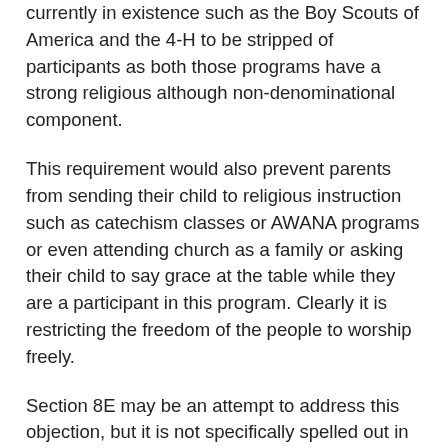currently in existence such as the Boy Scouts of America and the 4-H to be stripped of participants as both those programs have a strong religious although non-denominational component.
This requirement would also prevent parents from sending their child to religious instruction such as catechism classes or AWANA programs or even attending church as a family or asking their child to say grace at the table while they are a participant in this program. Clearly it is restricting the freedom of the people to worship freely.
Section 8E may be an attempt to address this objection, but it is not specifically spelled out in what way it is addressing that concern and may be completely ignored by an overzealous enforcer of the program's requirements. The semi-colon in section 8D may be an indicator that participation in a religious organization on one's own initiative is not included in the reference of 8E and the words "one's own initiative" would restrict a parent's authority to require their child to participate in a church program if the child did not want to. Section 8D is questionable on the grounds that